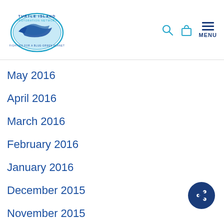Turtle Island Restoration Network — Navigation Bar
May 2016
April 2016
March 2016
February 2016
January 2016
December 2015
November 2015
October 2015
September 2015
August 2015
July 2015